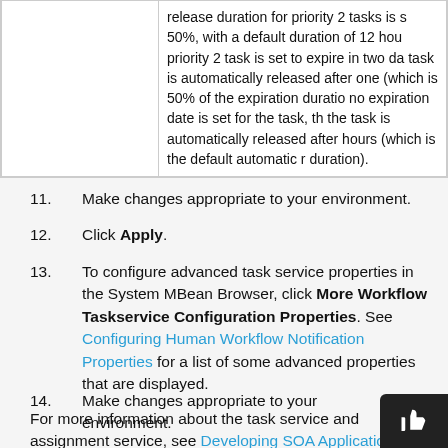|  |  |
| --- | --- |
|  | release duration for priority 2 tasks is s 50%, with a default duration of 12 hou priority 2 task is set to expire in two da task is automatically released after one (which is 50% of the expiration duratio no expiration date is set for the task, th the task is automatically released after hours (which is the default automatic r duration). |
11. Make changes appropriate to your environment.
12. Click Apply.
13. To configure advanced task service properties in the System MBean Browser, click More Workflow Taskservice Configuration Properties. See Configuring Human Workflow Notification Properties for a list of some advanced properties that are displayed.
14. Make changes appropriate to your environment.
For more information about the task service and assignment service, see Developing SOA Applications